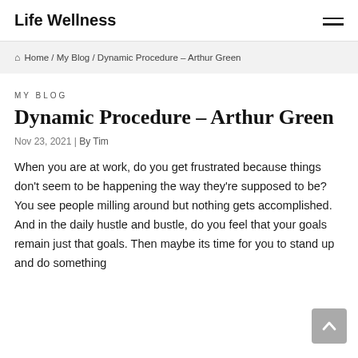Life Wellness
Home / My Blog / Dynamic Procedure – Arthur Green
MY BLOG
Dynamic Procedure – Arthur Green
Nov 23, 2021 | By Tim
When you are at work, do you get frustrated because things don't seem to be happening the way they're supposed to be? You see people milling around but nothing gets accomplished. And in the daily hustle and bustle, do you feel that your goals remain just that goals. Then maybe its time for you to stand up and do something